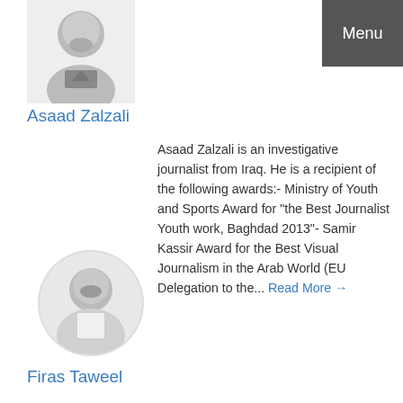[Figure (photo): Black and white headshot photo of Asaad Zalzali, a man with a beard]
Asaad Zalzali
Asaad Zalzali is an investigative journalist from Iraq. He is a recipient of the following awards:- Ministry of Youth and Sports Award for “the Best Journalist Youth work, Baghdad 2013”- Samir Kassir Award for the Best Visual Journalism in the Arab World (EU Delegation to the... Read More →
[Figure (photo): Black and white circular headshot photo of Firas Taweel, a man with a beard]
Firas Taweel